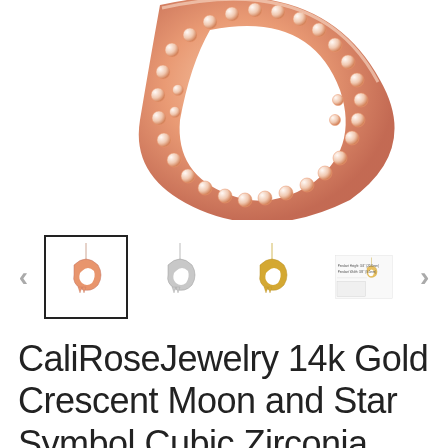[Figure (photo): Close-up of a rose gold crescent moon pendant with cubic zirconia stones, partially visible at top of page]
[Figure (photo): Thumbnail gallery row showing four product images of the necklace in different metal colors (rose gold selected, silver, yellow gold, size reference chart), with left and right navigation arrows]
CaliRoseJewelry 14k Gold Crescent Moon and Star Symbol Cubic Zirconia